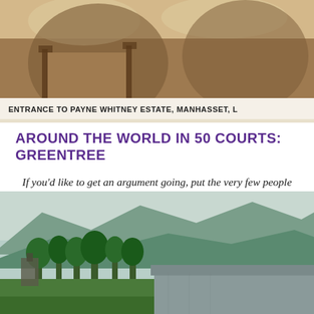[Figure (photo): Historical sepia-toned photograph showing entrance to Payne Whitney Estate, Manhasset, L[ong Island]. Bottom of image shows caption text on light background.]
ENTRANCE TO PAYNE WHITNEY ESTATE, MANHASSET, L
AROUND THE WORLD IN 50 COURTS: GREENTREE
If you'd like to get an argument going, put the very few people who have tried to play every court tennis court in the world into the same room and set them to matching their achievements. We all have...
[Figure (photo): Landscape photograph showing rolling hills and mountains in the background, with trees and a stone building or wall structure in the foreground. Green countryside scene.]